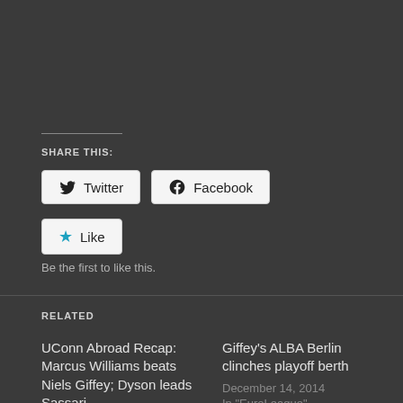SHARE THIS:
Twitter
Facebook
Like
Be the first to like this.
RELATED
UConn Abroad Recap: Marcus Williams beats Niels Giffey; Dyson leads Sassari
February 2, 2015
In "EuroCup"
Giffey's ALBA Berlin clinches playoff berth
December 14, 2014
In "EuroLeague"